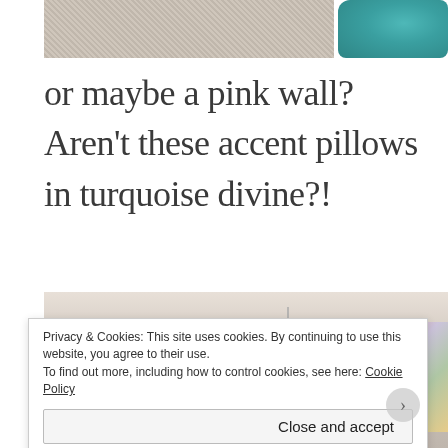[Figure (photo): Top portion of a photo showing teal/turquoise accent pillows on a cream/beige carpet background]
or maybe a pink wall?  Aren't these accent pillows in turquoise divine?!
[Figure (photo): Interior room photo showing ceiling with recessed lights, a turquoise chandelier, and floral art on the right side]
Privacy & Cookies: This site uses cookies. By continuing to use this website, you agree to their use.
To find out more, including how to control cookies, see here: Cookie Policy
Close and accept